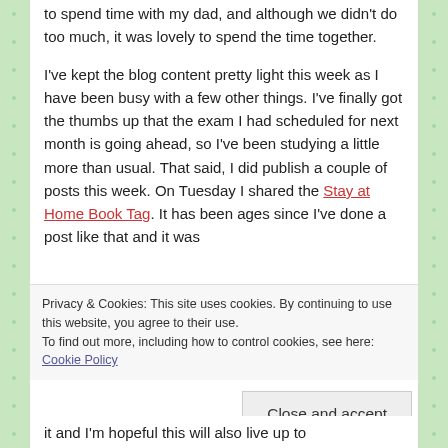to spend time with my dad, and although we didn't do too much, it was lovely to spend the time together.
I've kept the blog content pretty light this week as I have been busy with a few other things. I've finally got the thumbs up that the exam I had scheduled for next month is going ahead, so I've been studying a little more than usual. That said, I did publish a couple of posts this week. On Tuesday I shared the Stay at Home Book Tag. It has been ages since I've done a post like that and it was
Privacy & Cookies: This site uses cookies. By continuing to use this website, you agree to their use.
To find out more, including how to control cookies, see here: Cookie Policy
Close and accept
it and I'm hopeful this will also live up to